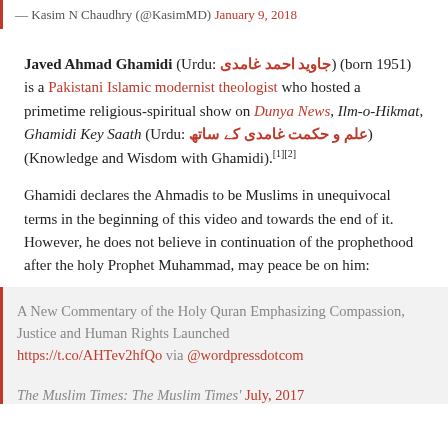— Kasim N Chaudhry (@KasimMD) January 9, 2018
Javed Ahmad Ghamidi (Urdu: جاوید احمد غامدی) (born 1951) is a Pakistani Islamic modernist theologist who hosted a primetime religious-spiritual show on Dunya News, Ilm-o-Hikmat, Ghamidi Key Saath (Urdu: علم و حکمت غامدی کے ساتھ) (Knowledge and Wisdom with Ghamidi).[1][2]
Ghamidi declares the Ahmadis to be Muslims in unequivocal terms in the beginning of this video and towards the end of it. However, he does not believe in continuation of the prophethood after the holy Prophet Muhammad, may peace be on him:
A New Commentary of the Holy Quran Emphasizing Compassion, Justice and Human Rights Launched https://t.co/AHTev2hfQo via @wordpressdotcom